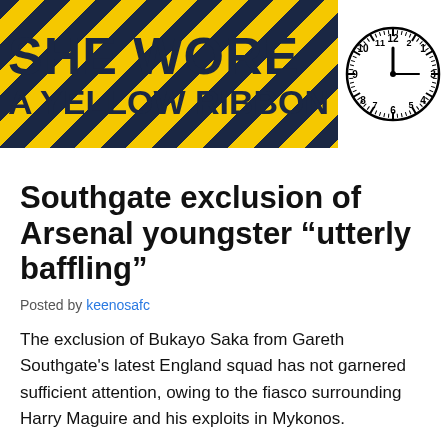[Figure (illustration): Banner for 'She Wore A Yellow Ribbon' blog/website with yellow and black diagonal stripes background, bold dark navy text reading 'SHE WORE A YELLOW RIBBON', and a clock showing approximately 12:15 on the right side.]
Southgate exclusion of Arsenal youngster “utterly baffling”
Posted by keenosafc
The exclusion of Bukayo Saka from Gareth Southgate's latest England squad has not garnered sufficient attention, owing to the fiasco surrounding Harry Maguire and his exploits in Mykonos.